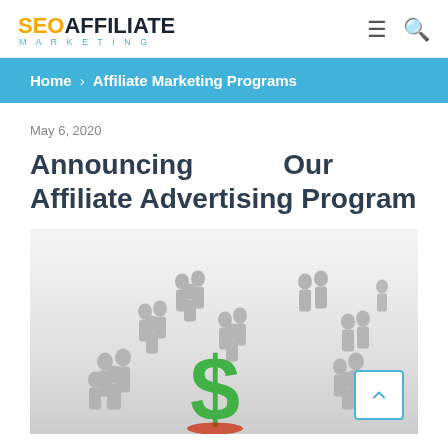SEO AFFILIATE MARKETING
Home › Affiliate Marketing Programs
May 6, 2020
Announcing Our Affiliate Advertising Program
[Figure (illustration): Illustration of grey 3D human figures arranged in groups around a large green dollar sign symbol on a white/light grey gradient background, representing affiliate marketing network.]